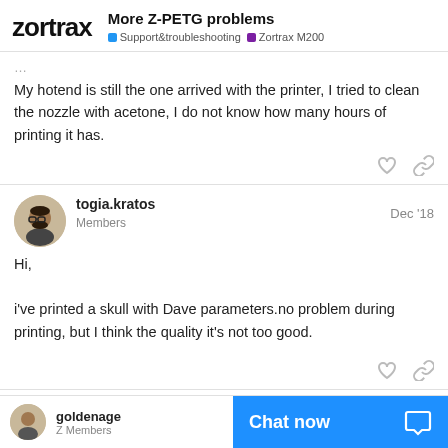Zortrax — More Z-PETG problems — Support&troubleshooting — Zortrax M200
My hotend is still the one arrived with the printer, I tried to clean the nozzle with acetone, I do not know how many hours of printing it has.
togia.kratos — Members — Dec '18
Hi,

i've printed a skull with Dave parameters.no problem during printing, but I think the quality it's not too good.
goldenage — Z Members